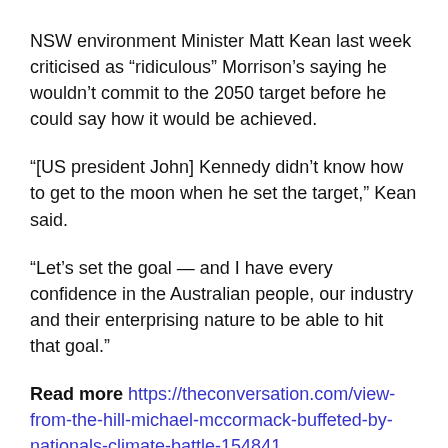NSW environment Minister Matt Kean last week criticised as “riculous” Morrison’s saying he wouldn’t commit to the 2050 target before he could say how it would be achieved.
“[US president John] Kennedy didn’t know how to get to the moon when he set the target,” Kean said.
“Let’s set the goal — and I have every confidence in the Australian people, our industry and their enterprising nature to be able to hit that goal.”
Read more https://theconversation.com/view-from-the-hill-michael-mccormack-buffeted-by-nationals-climate-battle-154841